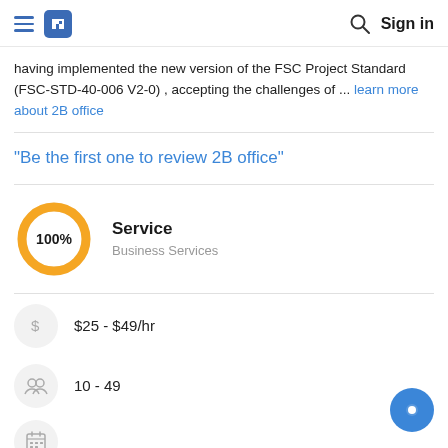Navigation bar with hamburger menu, logo, search icon, and Sign in button
having implemented the new version of the FSC Project Standard (FSC-STD-40-006 V2-0) , accepting the challenges of ... learn more about 2B office
"Be the first one to review 2B office"
[Figure (infographic): 100% donut/ring chart in yellow with '100%' label in center]
Service
Business Services
$25 - $49/hr
10 - 49